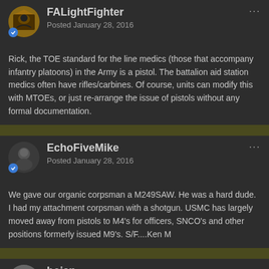FALightFighter
Posted January 28, 2016
Rick, the TOE standard for the line medics (those that accompany infantry platoons) in the Army is a pistol. The battalion aid station medics often have rifles/carbines. Of course, units can modify this with MTOEs, or just re-arrange the issue of pistols without any formal documentation.
EchoFiveMike
Posted January 28, 2016
We gave our organic corpsman a M249SAW. He was a hard dude. I had my attachment corpsman with a shotgun. USMC has largely moved away from pistols to M4's for officers, SNCO's and other positions formerly issued M9's. S/F....Ken M
bojan